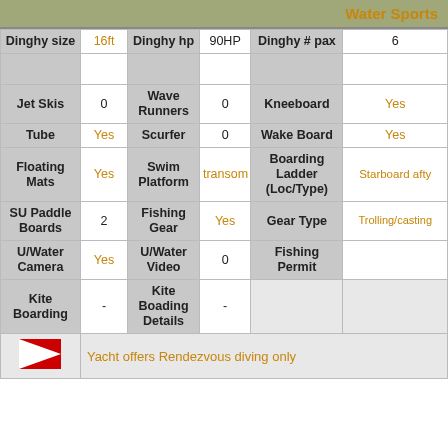Water Sports
|  |  |  |  |  |  |
| --- | --- | --- | --- | --- | --- |
| Dinghy size | 16ft | Dinghy hp | 90HP | Dinghy # pax | 6 |
| Jet Skis | 0 | Wave Runners | 0 | Kneeboard | Yes |
| Tube | Yes | Scurfer | 0 | Wake Board | Yes |
| Floating Mats | Yes | Swim Platform | transom | Boarding Ladder (Loc/Type) | Starboard afty |
| SU Paddle Boards | 2 | Fishing Gear | Yes | Gear Type | Trolling/casting |
| U/Water Camera | Yes | U/Water Video | 0 | Fishing Permit |  |
| Kite Boarding | - | Kite Boading Details | - |  |  |
Yacht offers Rendezvous diving only